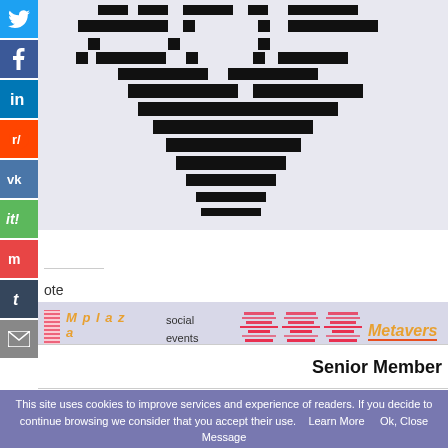[Figure (screenshot): Pixel art / QR code style image at top of page in light lavender background area]
ote
[Figure (screenshot): Virtual hangout place with Mplaza branding, social events, shopping, culture text. Decorative red glitch-style letter images. Metaverse link in orange.]
Senior Member
le: [Select]
[quote][center][td][url=is.gd/VEVleQ][size=2px][tt][color=#e72f70]
This site uses cookies to improve services and experience of readers. If you decide to continue browsing we consider that you accept their use.    Learn More      Ok, Close Message